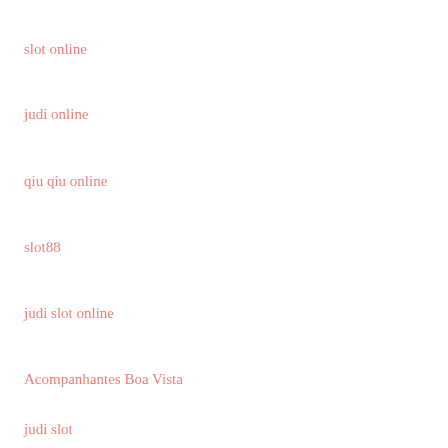slot online
judi online
qiu qiu online
slot88
judi slot online
Acompanhantes Boa Vista
judi slot